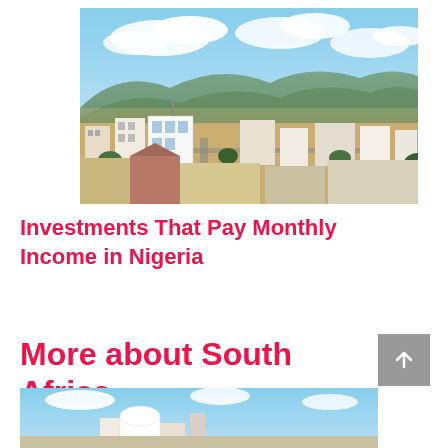[Figure (photo): Aerial view of a Nigerian city with roads, buildings, blue sky with clouds, and green hills in the background]
Investments That Pay Monthly Income in Nigeria
More about South Africa
[Figure (photo): Partial view of a South African building or town scene, cropped at bottom of page]